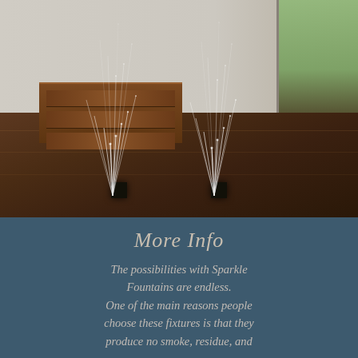[Figure (photo): Indoor room with dark hardwood floors, wooden dresser/cabinet in background, and two cold sparkle fountain devices emitting tall streams of sparks/light upward, with a door or window visible on the right side.]
More Info
The possibilities with Sparkle Fountains are endless. One of the main reasons people choose these fixtures is that they produce no smoke, residue, and